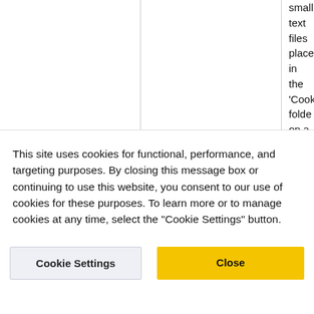small text files placed in the 'Cookies' folder on a visitor's hard disk and allow Eloqua to remember the visitor. The cookies placed by the Eloqua service are
This site uses cookies for functional, performance, and targeting purposes. By closing this message box or continuing to use this website, you consent to our use of cookies for these purposes. To learn more or to manage cookies at any time, select the "Cookie Settings" button.